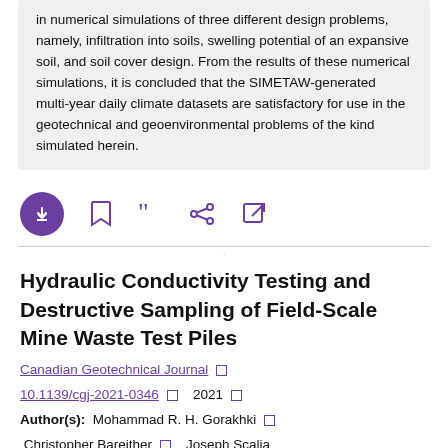in numerical simulations of three different design problems, namely, infiltration into soils, swelling potential of an expansive soil, and soil cover design. From the results of these numerical simulations, it is concluded that the SIMETAW-generated multi-year daily climate datasets are satisfactory for use in the geotechnical and geoenvironmental problems of the kind simulated herein.
[Figure (other): Action bar with download (purple circle), bookmark, cite, share, and external link icons]
Hydraulic Conductivity Testing and Destructive Sampling of Field-Scale Mine Waste Test Piles
Canadian Geotechnical Journal □ 10.1139/cgj-2021-0346 □ 2021 □
Author(s): Mohammad R. H. Gorakhki □ Christopher Bareither □ Joseph Scalia
Keyword(s): Hydraulic Conductivity □